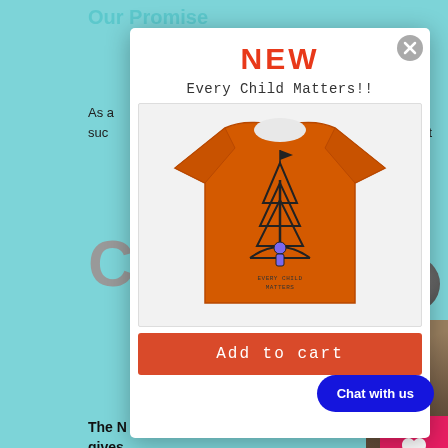Our Promise
As a
suc
uct
NEW
Every Child Matters!!
[Figure (photo): Orange t-shirt with a hand-drawn design showing a child figure under a pine tree with text 'Every Child Matters' on the shirt]
Add to cart
Chat with us
The N
gives
5% of p
donated
charity
choice a
Alli
Big
CHE